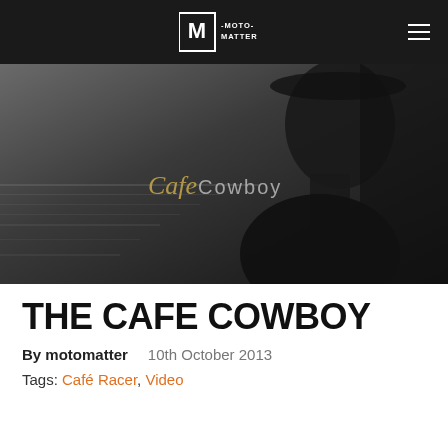MOTO MATTER
[Figure (photo): Black and white hero image of a person's profile/silhouette with the text 'Cafe Cowboy' overlaid in script and sans-serif fonts]
THE CAFE COWBOY
By motomatter   10th October 2013
Tags: Café Racer, Video